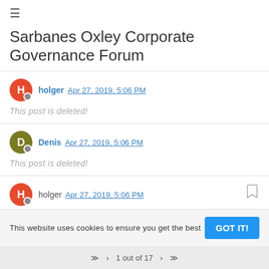Sarbanes Oxley Corporate Governance Forum
holger Apr 27, 2019, 5:06 PM
This post is deleted!
Denis Apr 27, 2019, 5:06 PM
This post is deleted!
holger Apr 27, 2019, 5:06 PM
This website uses cookies to ensure you get the best
1 out of 17